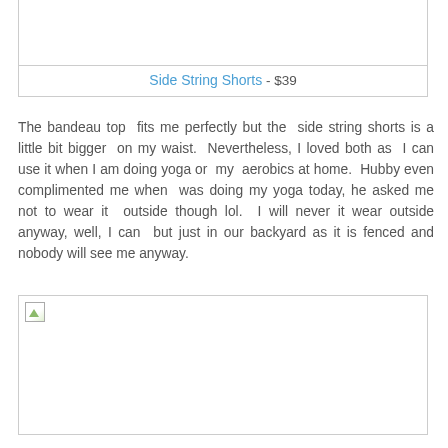[Figure (photo): Product image placeholder for Side String Shorts at top of page]
Side String Shorts - $39
The bandeau top fits me perfectly but the side string shorts is a little bit bigger on my waist. Nevertheless, I loved both as I can use it when I am doing yoga or my aerobics at home. Hubby even complimented me when was doing my yoga today, he asked me not to wear it outside though lol. I will never it wear outside anyway, well, I can but just in our backyard as it is fenced and nobody will see me anyway.
[Figure (photo): Second product image placeholder]